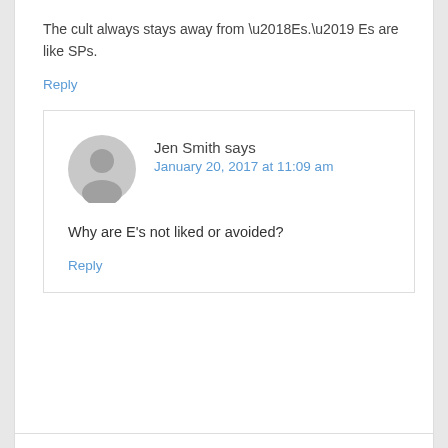The cult always stays away from ‘Es.’ Es are like SPs.
Reply
Jen Smith says
January 20, 2017 at 11:09 am
Why are E’s not liked or avoided?
Reply